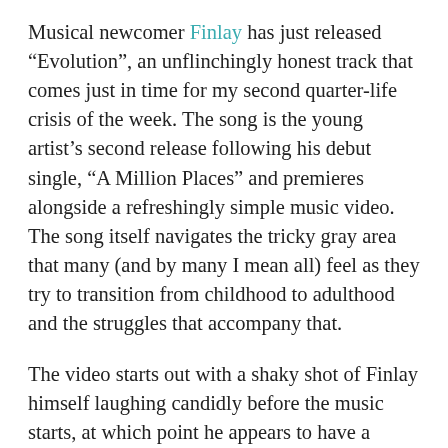Musical newcomer Finlay has just released “Evolution”, an unflinchingly honest track that comes just in time for my second quarter-life crisis of the week. The song is the young artist’s second release following his debut single, “A Million Places” and premieres alongside a refreshingly simple music video. The song itself navigates the tricky gray area that many (and by many I mean all) feel as they try to transition from childhood to adulthood and the struggles that accompany that.
The video starts out with a shaky shot of Finlay himself laughing candidly before the music starts, at which point he appears to have a sobering moment. Twinkly piano reminiscent of childhood lullabies opens the track and, accompanied alongside the visual of the young artist laughing, serve to provide us with both auditory and visual evidence of what being young and carefree feels like.
Right off the bat Finlay’s voice is aching and the piano...